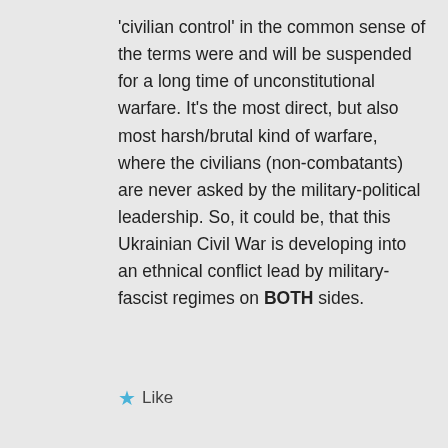'civilian control' in the common sense of the terms were and will be suspended for a long time of unconstitutional warfare. It's the most direct, but also most harsh/brutal kind of warfare, where the civilians (non-combatants) are never asked by the military-political leadership. So, it could be, that this Ukrainian Civil War is developing into an ethnical conflict lead by military-fascist regimes on BOTH sides.
Like